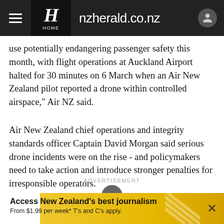nzherald.co.nz
use potentially endangering passenger safety this month, with flight operations at Auckland Airport halted for 30 minutes on 6 March when an Air New Zealand pilot reported a drone within controlled airspace," Air NZ said.
Air New Zealand chief operations and integrity standards officer Captain David Morgan said serious drone incidents were on the rise - and policymakers need to take action and introduce stronger penalties for irresponsible operators.
ADVERTISEMENT
Access New Zealand's best journalism From $1.99 per week* T's and C's apply.